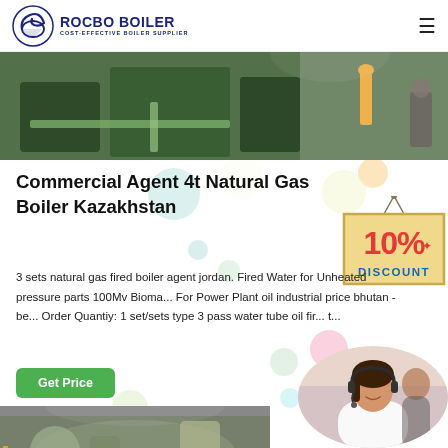ROCBO BOILER - COST-EFFECTIVE BOILER SUPPLIER
[Figure (photo): Industrial boiler equipment in a facility, showing large green machinery and pipes]
Commercial Agent 4t Natural Gas Boiler Kazakhstan
[Figure (infographic): 10% DISCOUNT badge/label hanging sign in red and yellow]
3 sets natural gas fired boiler agent jordan. Fired Water for Unheated pressure parts 100Mv Biomass For Power Plant oil industrial price bhutan - be... Order Quantiy: 1 set/sets type 3 pass water tube oil fire... t...
[Figure (photo): Customer service representative woman with headset smiling]
[Figure (photo): Industrial boiler equipment close-up at bottom of page]